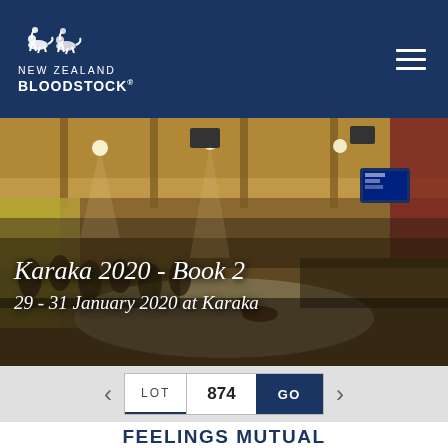NEW ZEALAND BLOODSTOCK
[Figure (photo): Interior of a horse auction arena packed with spectators, with a horse being presented on the arena floor. Warm wood-paneled ceiling with overhead lights.]
Karaka 2020 - Book 2
29 - 31 January 2020 at Karaka
LOT  874  GO
FEELINGS MUTUAL
[Figure (other): Dark navy blue panel at bottom of page]